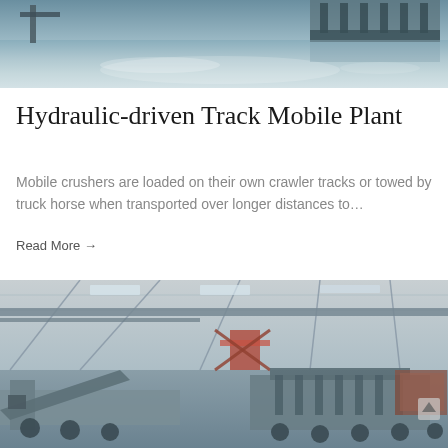[Figure (photo): Industrial factory floor with machinery and highly reflective grey epoxy floor, overhead lighting, large metal equipment components visible.]
Hydraulic-driven Track Mobile Plant
Mobile crushers are loaded on their own crawler tracks or towed by truck horse when transported over longer distances to…
Read More →
[Figure (photo): Interior of a large industrial warehouse or factory with heavy machinery, conveyor systems, metal framework structures, skylights, and mobile crusher equipment.]